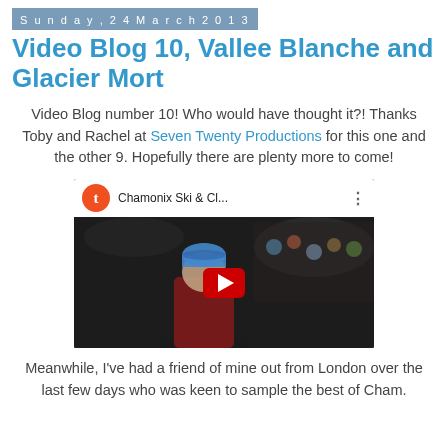Sunday, 24 March 2013
Video Blog 10, Vallee Blanche and Glacier Mort
Video Blog number 10! Who would have thought it?! Thanks Toby and Rachel at Seven Twenty Productions for this one and the other 9. Hopefully there are plenty more to come!
[Figure (screenshot): Embedded YouTube video thumbnail showing 'Chamonix Ski & Cl...' with a person in ski gear in front of a crowd, with a red play button overlay.]
Meanwhile, I've had a friend of mine out from London over the last few days who was keen to sample the best of Cham.